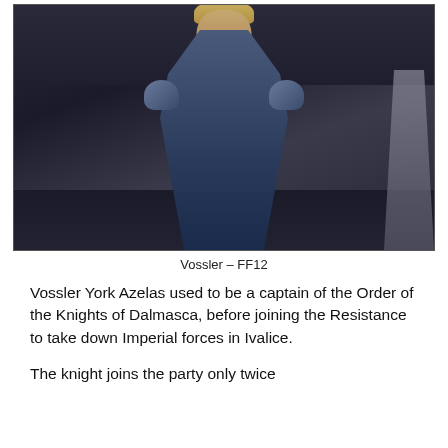[Figure (screenshot): Screenshot of Vossler from Final Fantasy 12 (FF12), a male character in ornate blue-grey armor with green accents, standing in a dark stone environment.]
Vossler – FF12
Vossler York Azelas used to be a captain of the Order of the Knights of Dalmasca, before joining the Resistance to take down Imperial forces in Ivalice.
The knight joins the party only twice throughout the game, and each time...